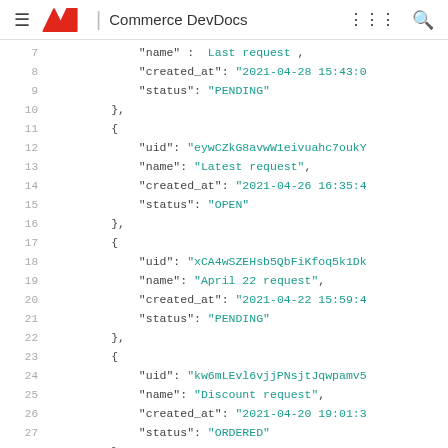Adobe | Commerce DevDocs
Code block showing JSON array of request objects with lines 7-29, including uid, name, created_at, and status fields for Last request (PENDING), Latest request (OPEN), April 22 request (PENDING), and Discount request (ORDERED).